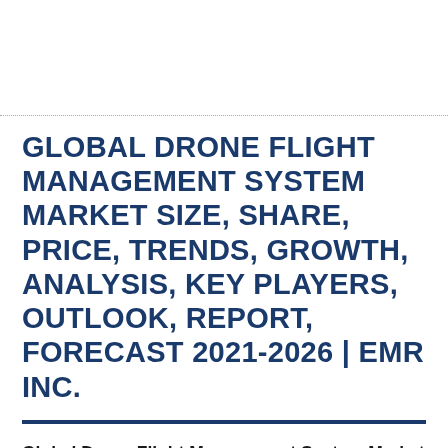GLOBAL DRONE FLIGHT MANAGEMENT SYSTEM MARKET SIZE, SHARE, PRICE, TRENDS, GROWTH, ANALYSIS, KEY PLAYERS, OUTLOOK, REPORT, FORECAST 2021-2026 | EMR INC.
Global Drone Flight Management System Market Size, Share, Price, Trends, Growth, Analysis, Key Players, Outlook, Report, Forecast 2021-2026 | EMR Inc.